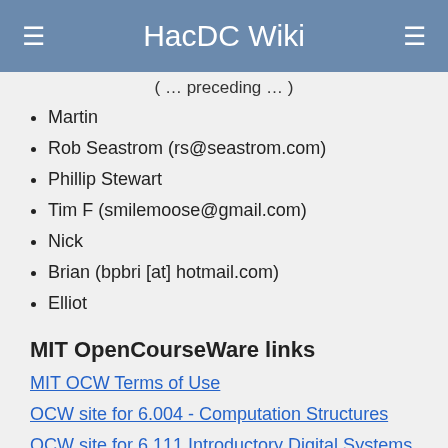HacDC Wiki
(…preceding text…)
Martin
Rob Seastrom (rs@seastrom.com)
Phillip Stewart
Tim F (smilemoose@gmail.com)
Nick
Brian (bpbri [at] hotmail.com)
Elliot
MIT OpenCourseWare links
MIT OCW Terms of Use
OCW site for 6.004 - Computation Structures
OCW site for 6.111 Introductory Digital Systems, 2006